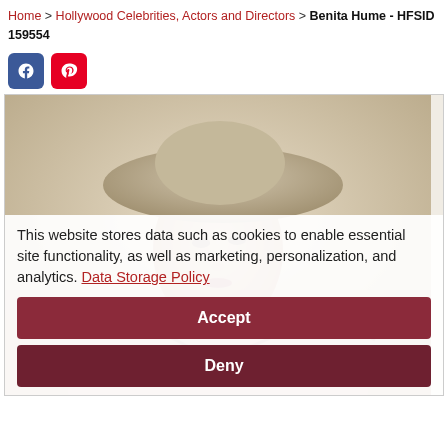Home > Hollywood Celebrities, Actors and Directors > Benita Hume - HFSID 159554
[Figure (photo): Vintage sepia-toned portrait photograph of Benita Hume, a woman wearing a wide-brimmed hat, partially overlaid by a cookie consent banner and a watermark signature]
This website stores data such as cookies to enable essential site functionality, as well as marketing, personalization, and analytics. Data Storage Policy
Accept
Deny